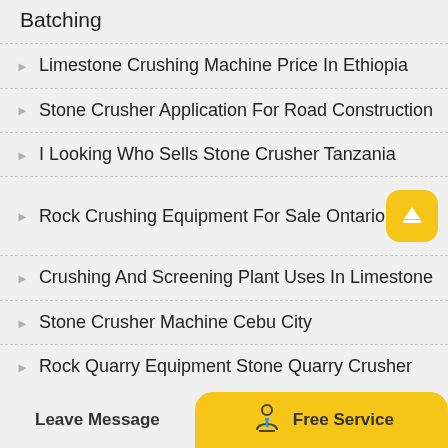Batching
Limestone Crushing Machine Price In Ethiopia
Stone Crusher Application For Road Construction
I Looking Who Sells Stone Crusher Tanzania
Rock Crushing Equipment For Sale Ontario
Crushing And Screening Plant Uses In Limestone
Stone Crusher Machine Cebu City
Rock Quarry Equipment Stone Quarry Crusher
Leave Message   Free Service